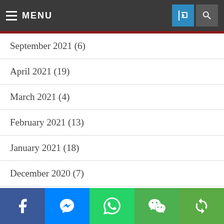MENU
September 2021 (6)
April 2021 (19)
March 2021 (4)
February 2021 (13)
January 2021 (18)
December 2020 (7)
November 2020 (38)
October 2020 (6)
September 2020 (5)
August 2020 (8)
July 2020 (17)
Social sharing bar: Facebook, Messenger, WhatsApp, WeChat, Share